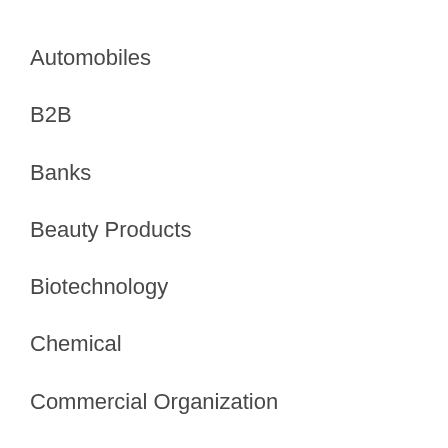Automobiles
B2B
Banks
Beauty Products
Biotechnology
Chemical
Commercial Organization
Conglomerate
Construction
Consumer Goods
Defense
Department Store